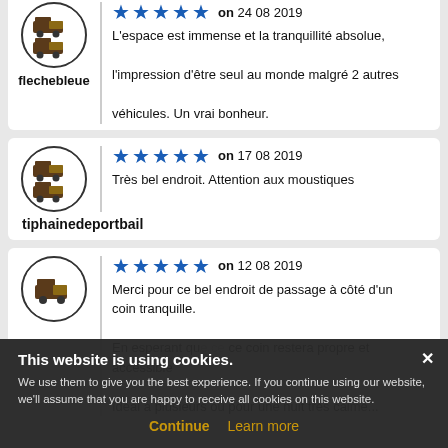[Figure (illustration): User avatar icon showing camper vans in a circle for user flechebleue]
★★★★★ on 24 08 2019
L'espace est immense et la tranquillité absolue, l'impression d'être seul au monde malgré 2 autres véhicules. Un vrai bonheur.
flechebleue
[Figure (illustration): User avatar icon showing camper vans in a circle for user tiphainedeportbail]
★★★★★ on 17 08 2019
Très bel endroit. Attention aux moustiques
tiphainedeportbail
[Figure (illustration): User avatar icon showing a camper van in a circle]
★★★★★ on 12 08 2019
Merci pour ce bel endroit de passage à côté d'un coin tranquille
En esperant que ce coin restera propre et accessible
Idéal à plusieurs ou pour une nuit très calme...
This website is using cookies.
We use them to give you the best experience. If you continue using our website, we'll assume that you are happy to receive all cookies on this website.
Continue   Learn more